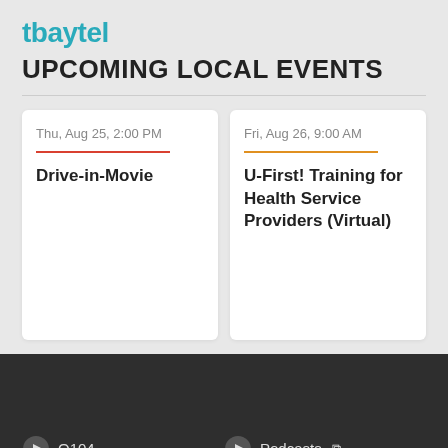tbaytel
UPCOMING LOCAL EVENTS
Thu, Aug 25, 2:00 PM
Drive-in-Movie
Fri, Aug 26, 9:00 AM
U-First! Training for Health Service Providers (Virtual)
Q104
Podcasts
Get the App